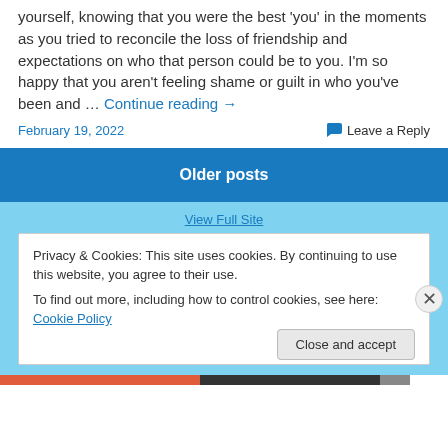yourself, knowing that you were the best 'you' in the moments as you tried to reconcile the loss of friendship and expectations on who that person could be to you. I'm so happy that you aren't feeling shame or guilt in who you've been and … Continue reading →
February 19, 2022
Leave a Reply
Older posts
View Full Site
Privacy & Cookies: This site uses cookies. By continuing to use this website, you agree to their use.
To find out more, including how to control cookies, see here: Cookie Policy
Close and accept